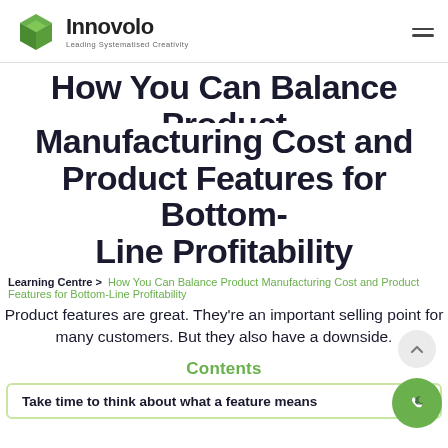Innovolo — Leading Systematised Creativity
How You Can Balance Product Manufacturing Cost and Product Features for Bottom-Line Profitability
Learning Centre > How You Can Balance Product Manufacturing Cost and Product Features for Bottom-Line Profitability
Product features are great. They're an important selling point for many customers. But they also have a downside.
Contents
Take time to think about what a feature means